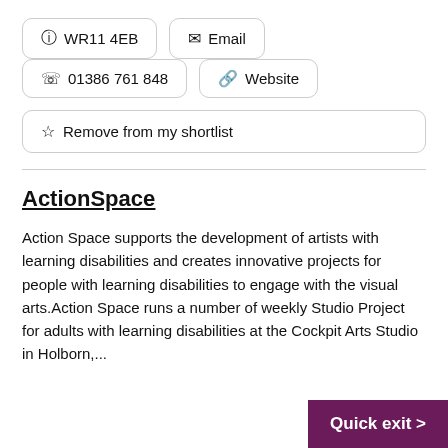📍 WR11 4EB
✉ Email
📞 01386 761 848
🔗 Website
☆ Remove from my shortlist
ActionSpace
Action Space supports the development of artists with learning disabilities and creates innovative projects for people with learning disabilities to engage with the visual arts.Action Space runs a number of weekly Studio Project for adults with learning disabilities at the Cockpit Arts Studio in Holborn,...